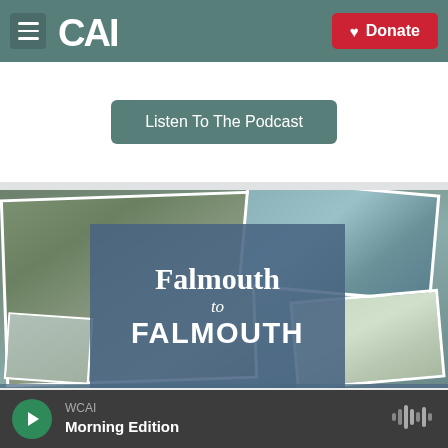CAI | WCAI
Listen To The Podcast
[Figure (photo): Collage of photos showing a man outdoors and coastal scenery, with a blue overlay reading 'Falmouth to FALMOUTH']
WCAI Morning Edition